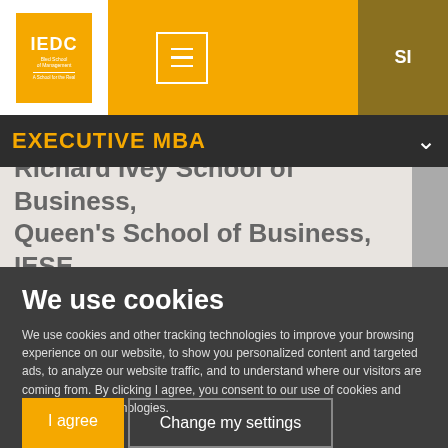[Figure (logo): IEDC Bled School of Management logo on yellow/orange background with hamburger menu icon]
SI
EXECUTIVE MBA
Richard Ivey School of Business, Queen's School of Business, IESE
We use cookies
We use cookies and other tracking technologies to improve your browsing experience on our website, to show you personalized content and targeted ads, to analyze our website traffic, and to understand where our visitors are coming from. By clicking I agree, you consent to our use of cookies and other tracking technologies.
I agree
Change my settings